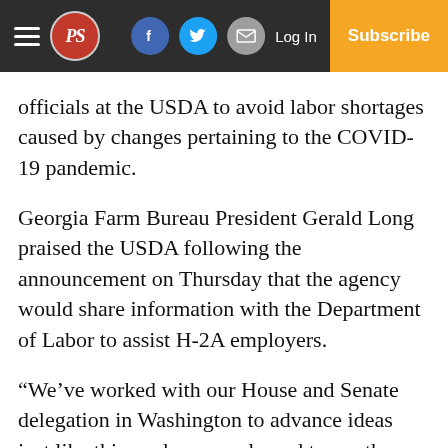PS [logo] | Facebook | Twitter | Email | Log In | Subscribe
officials at the USDA to avoid labor shortages caused by changes pertaining to the COVID-19 pandemic.
Georgia Farm Bureau President Gerald Long praised the USDA following the announcement on Thursday that the agency would share information with the Department of Labor to assist H-2A employers.
“We’ve worked with our House and Senate delegation in Washington to advance ideas just like this, and we are pleased to see the USDA taking action to help ensure that Georgia farmers are able to harvest their crops and get them on grocery store